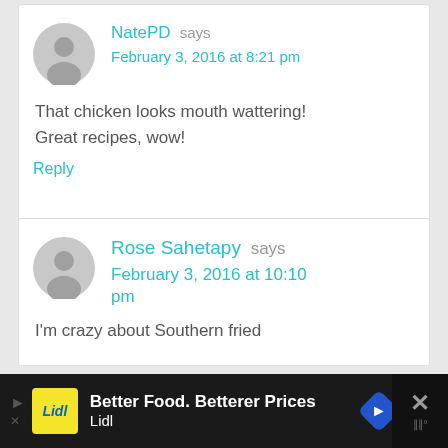[Figure (illustration): User avatar placeholder circle (gray silhouette) for NatePD comment]
NatePD says
February 3, 2016 at 8:21 pm
That chicken looks mouth wattering! Great recipes, wow!
Reply
[Figure (illustration): User avatar placeholder circle (gray silhouette) for Rose Sahetapy comment]
Rose Sahetapy says
February 3, 2016 at 10:10 pm
I'm crazy about Southern fried
[Figure (infographic): Lidl advertisement banner: Better Food. Betterer Prices - Lidl]
[Figure (other): Close/X button for advertisement]